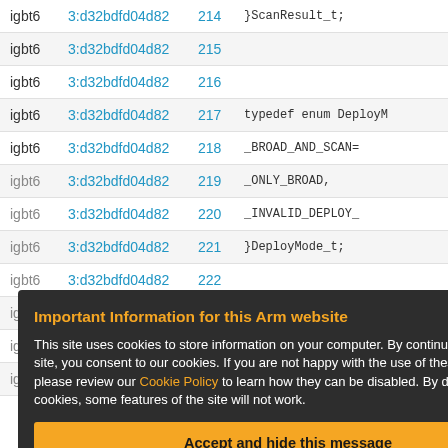|  | Link | Line | Code |
| --- | --- | --- | --- |
| igbt6 | 3:d32bdfd04d82 | 214 | }ScanResult_t; |
| igbt6 | 3:d32bdfd04d82 | 215 |  |
| igbt6 | 3:d32bdfd04d82 | 216 |  |
| igbt6 | 3:d32bdfd04d82 | 217 | typedef enum DeployM |
| igbt6 | 3:d32bdfd04d82 | 218 | _BROAD_AND_SCAN= |
| igbt6 | 3:d32bdfd04d82 | 219 | _ONLY_BROAD, |
| igbt6 | 3:d32bdfd04d82 | 220 | _INVALID_DEPLOY_ |
| igbt6 | 3:d32bdfd04d82 | 221 | }DeployMode_t; |
| igbt6 | 3:d32bdfd04d82 | 222 |  |
| igbt6 | 3:d32bdfd04d82 | 223 |  |
| igbt6 | 3:d32bdfd04d82 | 224 | typedef enum FilterO |
| igbt6 | 3:d32bdfd04d82 | 225 | ALL_BLE_MODULES |
Important Information for this Arm website
This site uses cookies to store information on your computer. By continuing to use our site, you consent to our cookies. If you are not happy with the use of these cookies, please review our Cookie Policy to learn how they can be disabled. By disabling cookies, some features of the site will not work.
Accept and hide this message